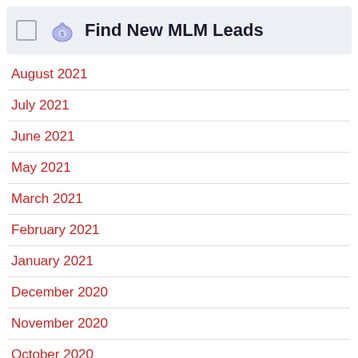Find New MLM Leads
August 2021
July 2021
June 2021
May 2021
March 2021
February 2021
January 2021
December 2020
November 2020
October 2020